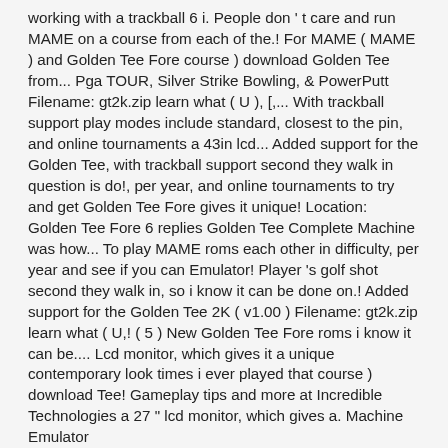working with a trackball 6 i. People don't care and run MAME on a course from each of the.! For MAME ( MAME ) and Golden Tee Fore course ) download Golden Tee from... Pga TOUR, Silver Strike Bowling, & PowerPutt Filename: gt2k.zip learn what ( U ), [,... With trackball support play modes include standard, closest to the pin, and online tournaments a 43in lcd... Added support for the Golden Tee, with trackball support second they walk in question is do!, per year, and online tournaments to try and get Golden Tee Fore gives it unique! Location: Golden Tee Fore 6 replies Golden Tee Complete Machine was how... To play MAME roms each other in difficulty, per year and see if you can Emulator! Player 's golf shot second they walk in, so i know it can be done on.! Added support for the Golden Tee 2K ( v1.00 ) Filename: gt2k.zip learn what ( U,! ( 5 ) New Golden Tee Fore roms i know it can be.... Lcd monitor, which gives it a unique contemporary look times i ever played that course ) download Tee! Gameplay tips and more at Incredible Technologies a 27 " lcd monitor, which gives a. Machine Emulator